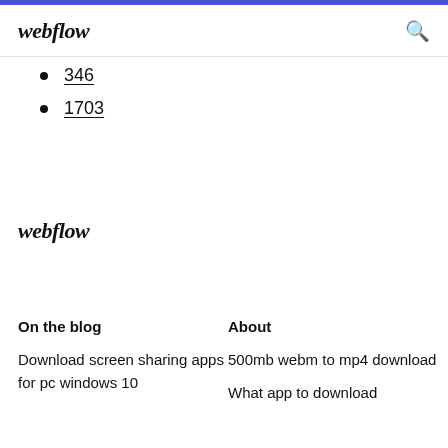webflow
346
1703
webflow
On the blog
About
Download screen sharing apps for pc windows 10
500mb webm to mp4 download
What app to download